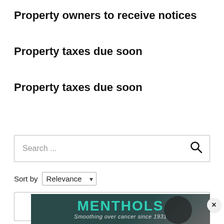Property owners to receive notices
Property taxes due soon
Property taxes due soon
[Figure (screenshot): Search bar with placeholder text 'Search ...' and a magnifying glass icon on the right]
Sort by Relevance
[Figure (screenshot): Second search input box with a magnifying glass icon on the right]
[Figure (advertisement): Ad banner with dark teal background showing 'MENTHOLS' in teal font and tagline 'Smoothing over cancer since 1931' with a close (x) button]
×